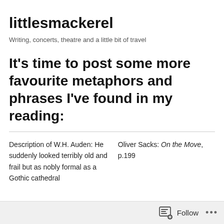littlesmackerel
Writing, concerts, theatre and a little bit of travel
It’s time to post some more favourite metaphors and phrases I’ve found in my reading:
Description of W.H. Auden: He suddenly looked terribly old and frail but as nobly formal as a Gothic cathedral
Oliver Sacks: On the Move, p.199
Follow